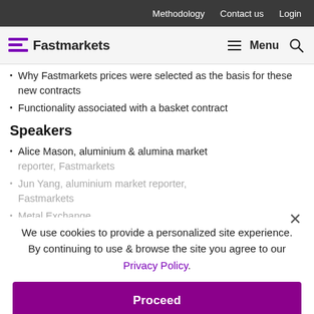Methodology  Contact us  Login
Fastmarkets  Menu
Why Fastmarkets prices were selected as the basis for these new contracts
Functionality associated with a basket contract
Speakers
Alice Mason, aluminium & alumina market reporter, Fastmarkets
Jun Yang, aluminium market reporter, Fastmarkets
Metal Exchange
We use cookies to provide a personalized site experience. By continuing to use & browse the site you agree to our Privacy Policy.
Proceed
settled against Fastmarkets MB's benchmark